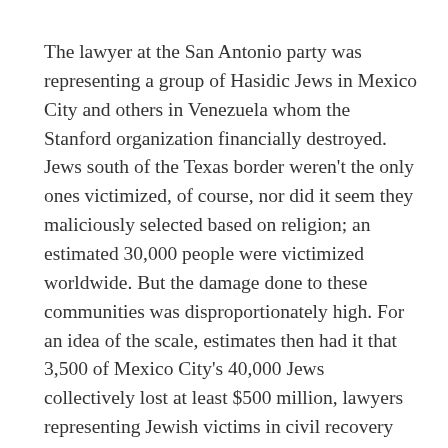The lawyer at the San Antonio party was representing a group of Hasidic Jews in Mexico City and others in Venezuela whom the Stanford organization financially destroyed. Jews south of the Texas border weren't the only ones victimized, of course, nor did it seem they maliciously selected based on religion; an estimated 30,000 people were victimized worldwide. But the damage done to these communities was disproportionately high. For an idea of the scale, estimates then had it that 3,500 of Mexico City's 40,000 Jews collectively lost at least $500 million, lawyers representing Jewish victims in civil recovery litigation told me.